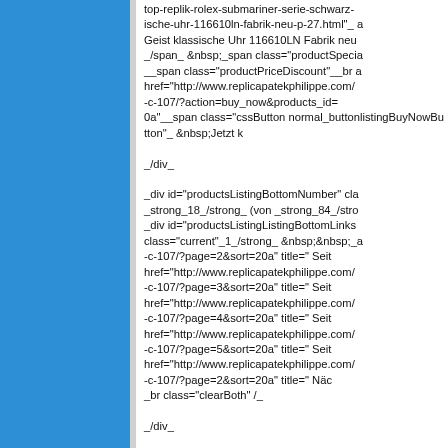[Figure (other): Blue sidebar/panel on the left side of the page]
top-replik-rolex-submariner-serie-schwarz-ische-uhr-116610ln-fabrik-neu-p-27.html"_ a Geist klassische Uhr 116610LN Fabrik neu _/span_ &nbsp;_span class="productSpecia __span class="productPriceDiscount"__br a href="http://www.replicapatekphilippe.com/ -c-107/?action=buy_now&amp;products_id= 0a"__span class="cssButton normal_button onmouseover="this.className='cssButton button_buy_nowHover'" onmouseout="this. class="listingBuyNowButton"_ &nbsp;Jetzt k

_/div_

_div id="productsListingBottomNumber" cla _strong_18_/strong_ (von _strong_84_/stro _div id="productsListingListingBottomLinks class="current"_1_/strong_ &nbsp;&nbsp;_a -c-107/?page=2&amp;sort=20a" title=" Seit href="http://www.replicapatekphilippe.com/ -c-107/?page=3&amp;sort=20a" title=" Seit href="http://www.replicapatekphilippe.com/ -c-107/?page=4&amp;sort=20a" title=" Seit href="http://www.replicapatekphilippe.com/ -c-107/?page=5&amp;sort=20a" title=" Seit href="http://www.replicapatekphilippe.com/ -c-107/?page=2&amp;sort=20a" title=" Näc _br class="clearBoth" /_

_/div_